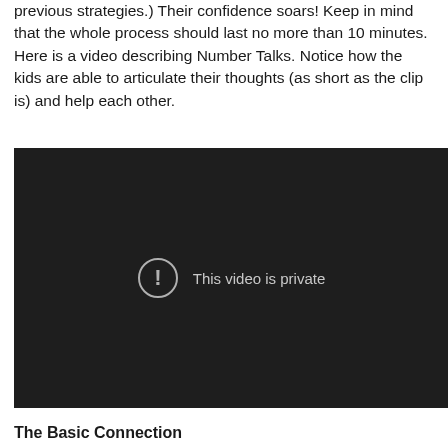previous strategies.) Their confidence soars! Keep in mind that the whole process should last no more than 10 minutes. Here is a video describing Number Talks. Notice how the kids are able to articulate their thoughts (as short as the clip is) and help each other.
[Figure (screenshot): Embedded video player with dark background showing message 'This video is private' with an exclamation mark icon.]
The Basic Connection